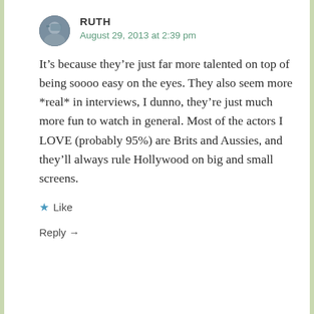[Figure (photo): Circular avatar photo of user Ruth]
RUTH
August 29, 2013 at 2:39 pm
It’s because they’re just far more talented on top of being soooo easy on the eyes. They also seem more *real* in interviews, I dunno, they’re just much more fun to watch in general. Most of the actors I LOVE (probably 95%) are Brits and Aussies, and they’ll always rule Hollywood on big and small screens.
★ Like
Reply →